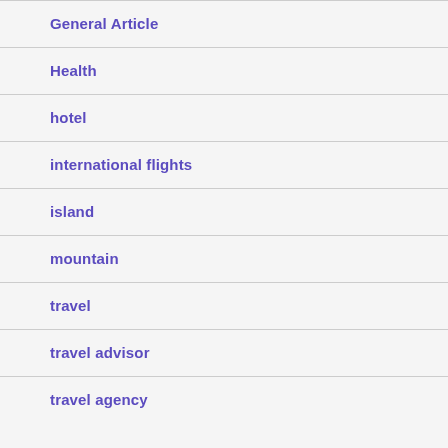General Article
Health
hotel
international flights
island
mountain
travel
travel advisor
travel agency